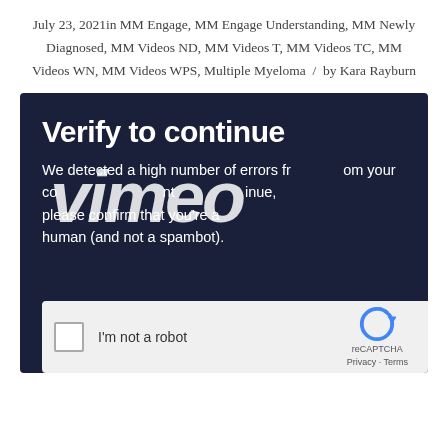July 23, 2021in MM Engage, MM Engage Understanding, MM Newly Diagnosed, MM Videos ND, MM Videos T, MM Videos TC, MM Videos WN, MM Videos WPS, Multiple Myeloma / by Kara Rayburn
[Figure (screenshot): Vimeo CAPTCHA verification screen with dark navy background showing 'Verify to continue' heading, Vimeo watermark logo, error message text about high number of errors, and reCAPTCHA 'I'm not a robot' checkbox widget at the bottom.]